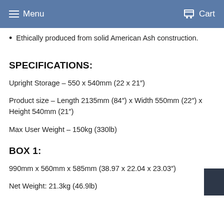Menu  Cart
Ethically produced from solid American Ash construction.
SPECIFICATIONS:
Upright Storage – 550 x 540mm (22 x 21″)
Product size – Length 2135mm (84″) x Width 550mm (22″) x Height 540mm (21″)
Max User Weight – 150kg (330lb)
BOX 1:
990mm x 560mm x 585mm (38.97 x 22.04 x 23.03″)
Net Weight: 21.3kg (46.9lb)